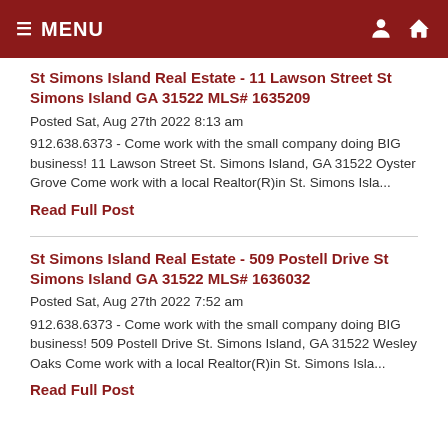≡ MENU
St Simons Island Real Estate - 11 Lawson Street St Simons Island GA 31522 MLS# 1635209
Posted Sat, Aug 27th 2022 8:13 am
912.638.6373 - Come work with the small company doing BIG business! 11 Lawson Street St. Simons Island, GA 31522 Oyster Grove Come work with a local Realtor(R)in St. Simons Isla...
Read Full Post
St Simons Island Real Estate - 509 Postell Drive St Simons Island GA 31522 MLS# 1636032
Posted Sat, Aug 27th 2022 7:52 am
912.638.6373 - Come work with the small company doing BIG business! 509 Postell Drive St. Simons Island, GA 31522 Wesley Oaks Come work with a local Realtor(R)in St. Simons Isla...
Read Full Post